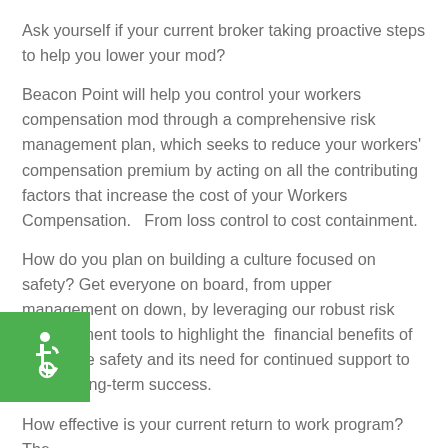Ask yourself if your current broker taking proactive steps to help you lower your mod?
Beacon Point will help you control your workers compensation mod through a comprehensive risk management plan, which seeks to reduce your workers' compensation premium by acting on all the contributing factors that increase the cost of your Workers Compensation.   From loss control to cost containment.
How do you plan on building a culture focused on safety? Get everyone on board, from upper management on down, by leveraging our robust risk management tools to highlight the  financial benefits of workplace safety and its need for continued support to ensure long-term success.
How effective is your current return to work program? The
[Figure (illustration): Green square accessibility icon with white wheelchair symbol]